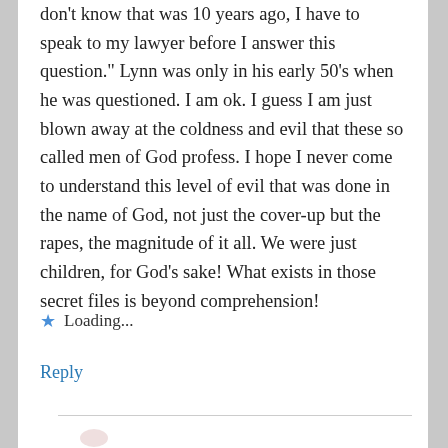don't know that was 10 years ago, I have to speak to my lawyer before I answer this question." Lynn was only in his early 50's when he was questioned. I am ok. I guess I am just blown away at the coldness and evil that these so called men of God profess. I hope I never come to understand this level of evil that was done in the name of God, not just the cover-up but the rapes, the magnitude of it all. We were just children, for God's sake! What exists in those secret files is beyond comprehension!
Loading...
Reply